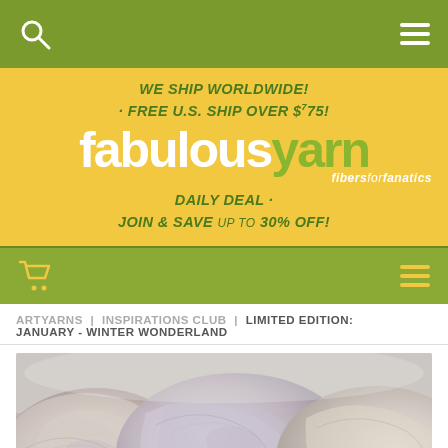fabulousyarn - fibers for fanatics
WE SHIP WORLDWIDE! · FREE U.S. SHIP OVER $75!
fabulousyarn fibers for fanatics
DAILY DEAL · JOIN & SAVE UP TO 30% OFF!
ARTYARNS | INSPIRATIONS CLUB | LIMITED EDITION: JANUARY - WINTER WONDERLAND
[Figure (photo): Close-up photo of skeins of hand-dyed yarn in pale lavender, grey, and beige tones]